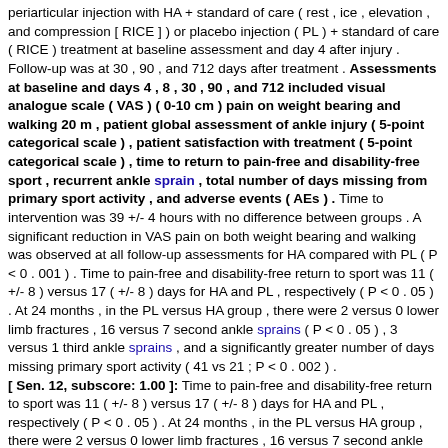periarticular injection with HA + standard of care ( rest , ice , elevation , and compression [ RICE ] ) or placebo injection ( PL ) + standard of care ( RICE ) treatment at baseline assessment and day 4 after injury . Follow-up was at 30 , 90 , and 712 days after treatment . Assessments at baseline and days 4 , 8 , 30 , 90 , and 712 included visual analogue scale ( VAS ) ( 0-10 cm ) pain on weight bearing and walking 20 m , patient global assessment of ankle injury ( 5-point categorical scale ) , patient satisfaction with treatment ( 5-point categorical scale ) , time to return to pain-free and disability-free sport , recurrent ankle sprain , total number of days missing from primary sport activity , and adverse events ( AEs ) . Time to intervention was 39 +/- 4 hours with no difference between groups . A significant reduction in VAS pain on both weight bearing and walking was observed at all follow-up assessments for HA compared with PL ( P < 0 . 001 ) . Time to pain-free and disability-free return to sport was 11 ( +/- 8 ) versus 17 ( +/- 8 ) days for HA and PL , respectively ( P < 0 . 05 ) . At 24 months , in the PL versus HA group , there were 2 versus 0 lower limb fractures , 16 versus 7 second ankle sprains ( P < 0 . 05 ) , 3 versus 1 third ankle sprains , and a significantly greater number of days missing primary sport activity ( 41 vs 21 ; P < 0 . 002 ) . [ Sen. 12, subscore: 1.00 ]: Time to pain-free and disability-free return to sport was 11 ( +/- 8 ) versus 17 ( +/- 8 ) days for HA and PL , respectively ( P < 0 . 05 ) . At 24 months , in the PL versus HA group , there were 2 versus 0 lower limb fractures , 16 versus 7 second ankle sprains ( P < 0 . 05 ) , 3 versus 1 third ankle sprains , and a significantly greater number of days missing primary sport activity ( 41 vs 21 ; P < 0 . 002 ) . Significantly greater patient satisfaction was also observed for HA versus PL at all follow-up assessments . No serious AEs were recorded throughout follow-up . Periarticular HA treatment for acute ankle sprain was highly satisfactory in the short and long term versus PL . This was associated with reduced pain , more rapid return to sport